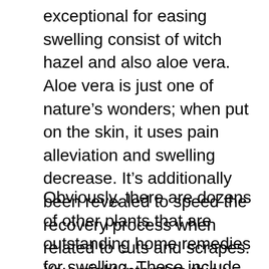exceptional for easing swelling consist of witch hazel and also aloe vera. Aloe vera is just one of nature's wonders; when put on the skin, it uses pain alleviation and swelling decrease. It's additionally been revealed to speed the recovery process when related to cuts and scrapes. You might intend to think about including both these natural herbs to your natural remedy for inflammation.
Obviously, there are dozens of other plants that are outstanding home remedies for swelling. These include white oak bark, a tree generally discovered in America, Canada as well as some parts of Europe; marjoram, citrus species native to Mediterranean regions; dandelion origins, a seasonal creeping plant that's finest for